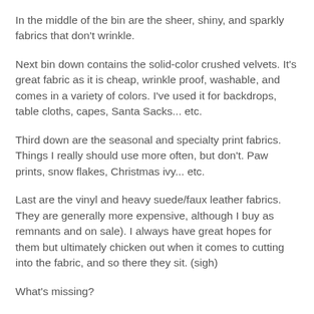In the middle of the bin are the sheer, shiny, and sparkly fabrics that don't wrinkle.
Next bin down contains the solid-color crushed velvets. It's great fabric as it is cheap, wrinkle proof, washable, and comes in a variety of colors. I've used it for backdrops, table cloths, capes, Santa Sacks... etc.
Third down are the seasonal and specialty print fabrics. Things I really should use more often, but don't. Paw prints, snow flakes, Christmas ivy... etc.
Last are the vinyl and heavy suede/faux leather fabrics. They are generally more expensive, although I buy as remnants and on sale). I always have great hopes for them but ultimately chicken out when it comes to cutting into the fabric, and so there they sit. (sigh)
What's missing?
All the fleece fabrics (in a very large bin in the garage) and the heavy-weight animal prints (mid-sized bin in my closet).